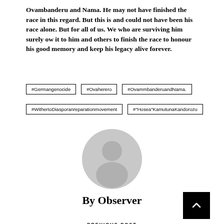Ovambanderu and Nama. He may not have finished the race in this regard. But this is and could not have been his race alone. But for all of us. We who are surviving him surely ow it to him and others to finish the race to honour his good memory and keep his legacy alive forever.
#Germangenocide
#Ovaherero
#OvammbanderuandNama.
#WithertoDiasporanreparationmovement
#"Hosea"KamutunaKandorozu
[Figure (illustration): Generic user avatar placeholder — a grey silhouette of a person (head and shoulders) inside a grey circle]
By Observer
PREVIOUS POST